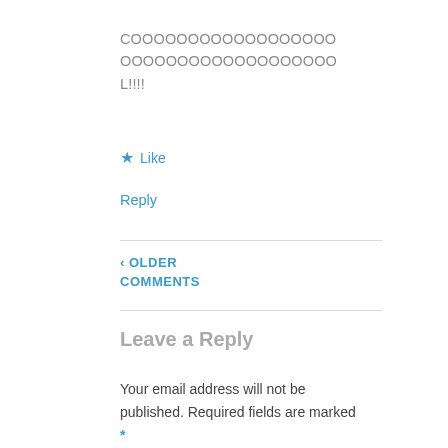COOOOOOOOOOOOOOOOOOOOOOOOOOOOOOOOOOOOOOOOL!!!!
★ Like
Reply
‹ OLDER COMMENTS
Leave a Reply
Your email address will not be published. Required fields are marked *